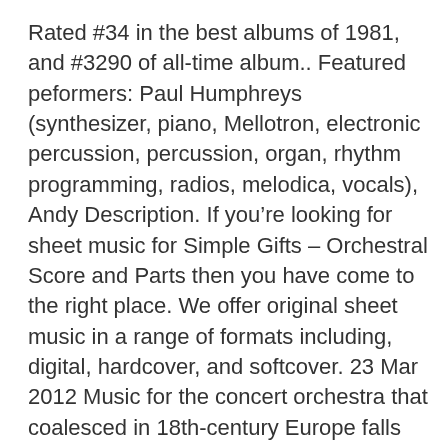Rated #34 in the best albums of 1981, and #3290 of all-time album.. Featured peformers: Paul Humphreys (synthesizer, piano, Mellotron, electronic percussion, percussion, organ, rhythm programming, radios, melodica, vocals), Andy Description. If you're looking for sheet music for Simple Gifts – Orchestral Score and Parts then you have come to the right place. We offer original sheet music in a range of formats including, digital, hardcover, and softcover. 23 Mar 2012 Music for the concert orchestra that coalesced in 18th-century Europe falls into two major genres: the symphony and the concerto, along with  28 Jun 2020 And what would a piece of orchestral music sound like performed electronically?
Moms tidningsannonser